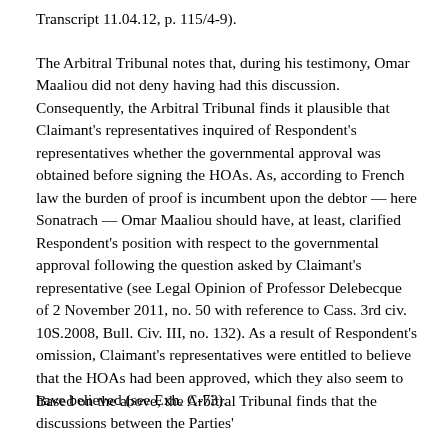Transcript 11.04.12, p. 115/4-9).
The Arbitral Tribunal notes that, during his testimony, Omar Maaliou did not deny having had this discussion. Consequently, the Arbitral Tribunal finds it plausible that Claimant's representatives inquired of Respondent's representatives whether the governmental approval was obtained before signing the HOAs. As, according to French law the burden of proof is incumbent upon the debtor — here Sonatrach — Omar Maaliou should have, at least, clarified Respondent's position with respect to the governmental approval following the question asked by Claimant's representative (see Legal Opinion of Professor Delebecque of 2 November 2011, no. 50 with reference to Cass. 3rd civ. 10S.2008, Bull. Civ. III, no. 132). As a result of Respondent's omission, Claimant's representatives were entitled to believe that the HOAs had been approved, which they also seem to have believed (see Exh. C-73).
Based on the above, the Arbitral Tribunal finds that the discussions between the Parties'